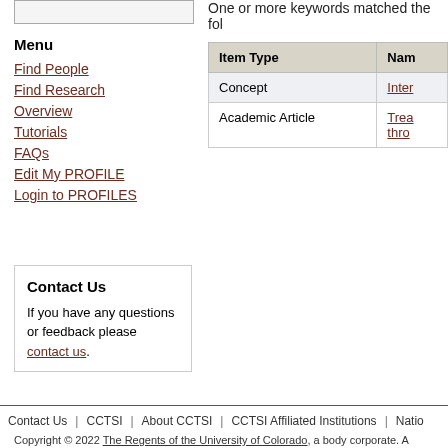One or more keywords matched the fol
Menu
Find People
Find Research
Overview
Tutorials
FAQs
Edit My PROFILE
Login to PROFILES
Contact Us
If you have any questions or feedback please contact us.
| Item Type | Nam |
| --- | --- |
| Concept | Inter |
| Academic Article | Trea
thro |
Contact Us | CCTSI | About CCTSI | CCTSI Affiliated Institutions | Natio
Copyright © 2022 The Regents of the University of Colorado, a body corporate. A